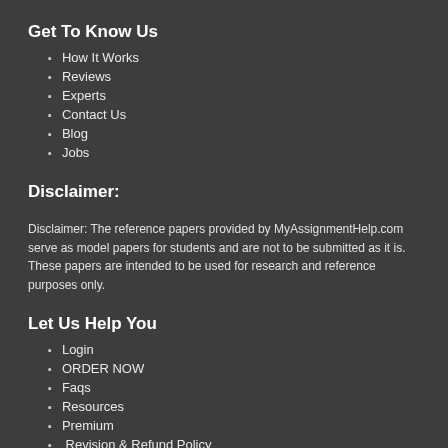Get To Know Us
How It Works
Reviews
Experts
Contact Us
Blog
Jobs
Disclaimer:
Disclaimer: The reference papers provided by MyAssignmentHelp.com serve as model papers for students and are not to be submitted as it is. These papers are intended to be used for research and reference purposes only.
Let Us Help You
Login
ORDER NOW
Faqs
Resources
Premium
Revision & Refund Policy